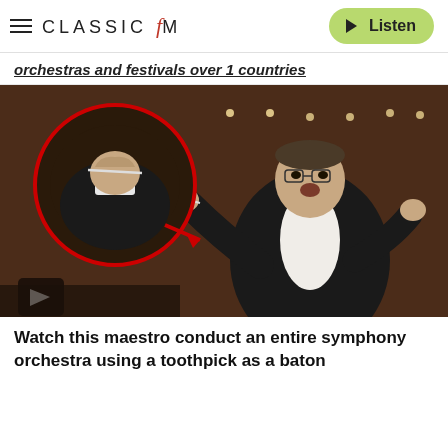CLASSIC fM | Listen
orchestras and festivals over 1 countries
[Figure (photo): A conductor in formal attire (black jacket, white bow tie) conducting an orchestra. A circular inset zooms in on his right hand holding what appears to be a toothpick as a baton. A red arrow points from the inset to his actual hand. A small play button is visible at the bottom left of the image.]
Watch this maestro conduct an entire symphony orchestra using a toothpick as a baton